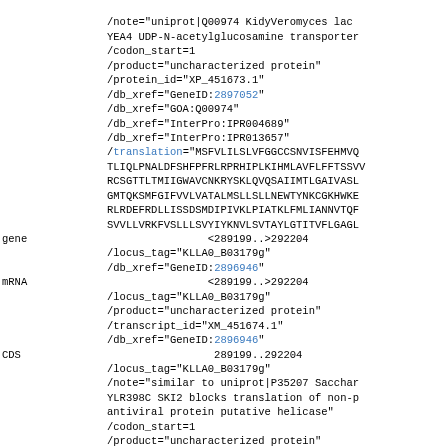Genomic feature annotation data showing gene, mRNA, and CDS records with locus tags, db_xref, product, protein_id, and translation fields for Kluyveromyces lactis genes KLLA0_B03179g including references to uniprot entries Q00974 and P35207.